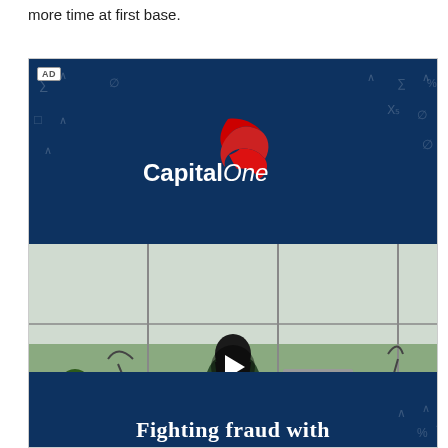more time at first base.
[Figure (advertisement): Capital One advertisement. Dark navy blue header with Capital One logo (red swoosh, white text). Below is a video thumbnail showing a woman with long dark hair seated at a desk in a modern office with large windows, viewed from behind, working at a computer monitor. A play button overlay is in the center. Small text at bottom reads: 'Banking and lending products offered by the Capital One family of companies, including Capital One Bank (USA), N.A. and Capital One, N.A., Members FDIC.' Capital One logo in bottom-left of photo. Below the photo is a dark navy bar with large white text reading 'Fighting fraud with'. AD badge in top-left corner.]